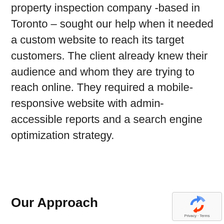property inspection company -based in Toronto – sought our help when it needed a custom website to reach its target customers. The client already knew their audience and whom they are trying to reach online. They required a mobile-responsive website with admin-accessible reports and a search engine optimization strategy.
Our Approach